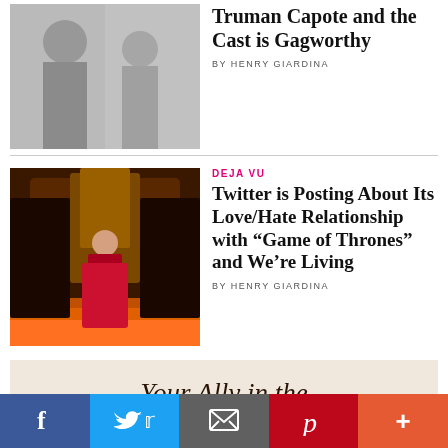[Figure (photo): Black and white photo of women, top article image for Truman Capote article]
Truman Capote and the Cast is Gagworthy
BY HENRY GIARDINA
[Figure (photo): Woman in red dress standing on iron throne set, Game of Thrones related image]
DEJA VU
Twitter is Posting About Its Love/Hate Relationship with “Game of Thrones” and We’re Living
BY HENRY GIARDINA
[Figure (illustration): Advertisement banner: Your Ally in the Jewelry Business]
Social sharing bar: Facebook, Twitter, Email, Pinterest, More